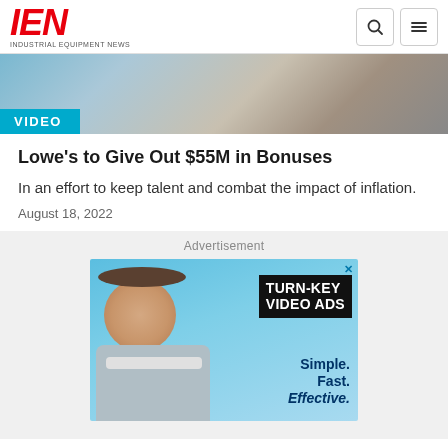IEN INDUSTRIAL EQUIPMENT NEWS
[Figure (photo): Hero image showing fabric/textile materials in blue and grey tones with a VIDEO badge overlay]
Lowe's to Give Out $55M in Bonuses
In an effort to keep talent and combat the impact of inflation.
August 18, 2022
[Figure (photo): Advertisement banner showing a smiling bearded man with text TURN-KEY VIDEO ADS Simple. Fast. Effective.]